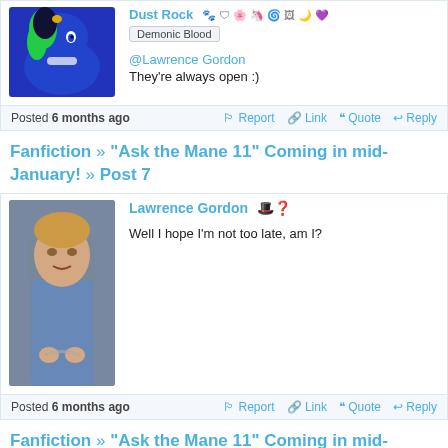[Figure (screenshot): Partial view of a forum post by Dust Rock with user avatar (blue pony character with green mane), badge 'Demonic Blood', reply to @Lawrence Gordon saying 'They're always open :)']
Posted 6 months ago
Report | Link | Quote | Reply
Fanfiction » "Ask the Mane 11" Coming in mid-January! » Post 7
[Figure (photo): Forum post by Lawrence Gordon with photo avatar (young man in blue shirt, chained), post text: 'Well I hope I'm not too late, am I?']
Posted 6 months ago
Report | Link | Quote | Reply
Fanfiction » "Ask the Mane 11" Coming in mid-January! » Post 6
[Figure (screenshot): Partial view of another forum post by Dust Rock with pony avatar and emoji icons]